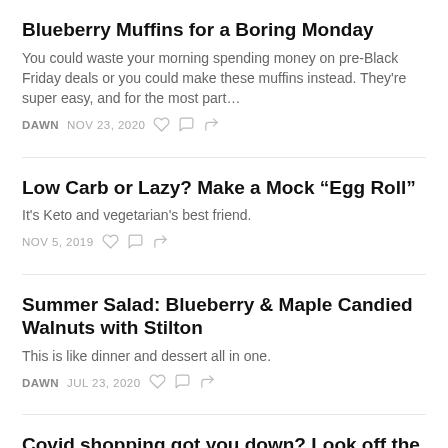Blueberry Muffins for a Boring Monday
You could waste your morning spending money on pre-Black Friday deals or you could make these muffins instead. They're super easy, and for the most part…
DAWN  NOV 23, 2020
Low Carb or Lazy? Make a Mock “Egg Roll”
It's Keto and vegetarian's best friend.
NOV 5, 2019
Summer Salad: Blueberry & Maple Candied Walnuts with Stilton
This is like dinner and dessert all in one.
DAWN  JUL 23, 2020
Covid shopping got you down? Look off the beaten path.
You'll find what you need if you get out of the box stores…